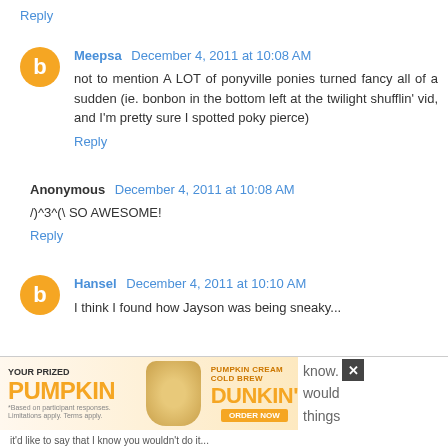Reply
Meepsa  December 4, 2011 at 10:08 AM
not to mention A LOT of ponyville ponies turned fancy all of a sudden (ie. bonbon in the bottom left at the twilight shufflin' vid, and I'm pretty sure I spotted poky pierce)
Reply
Anonymous  December 4, 2011 at 10:08 AM
/)^3^(\ SO AWESOME!
Reply
Hansel  December 4, 2011 at 10:10 AM
I think I found how Jayson was being sneaky...
[Figure (screenshot): Dunkin advertisement banner: YOUR PRIZED PUMPKIN / PUMPKIN CREAM COLD BREW / DUNKIN' ORDER NOW, with overlay text 'know. would things' and a close button]